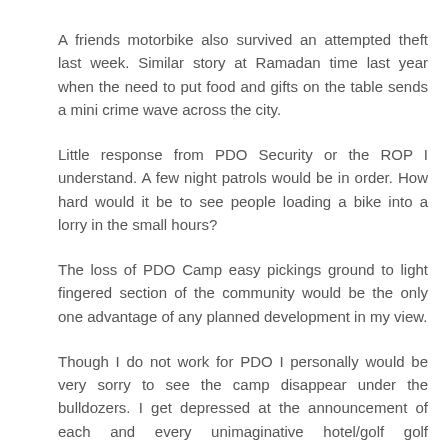A friends motorbike also survived an attempted theft last week. Similar story at Ramadan time last year when the need to put food and gifts on the table sends a mini crime wave across the city.
Little response from PDO Security or the ROP I understand. A few night patrols would be in order. How hard would it be to see people loading a bike into a lorry in the small hours?
The loss of PDO Camp easy pickings ground to light fingered section of the community would be the only one advantage of any planned development in my view.
Though I do not work for PDO I personally would be very sorry to see the camp disappear under the bulldozers. I get depressed at the announcement of each and every unimaginative hotel/golf golf course/real estate development and fear that the sums involved are too great for it to not happen.